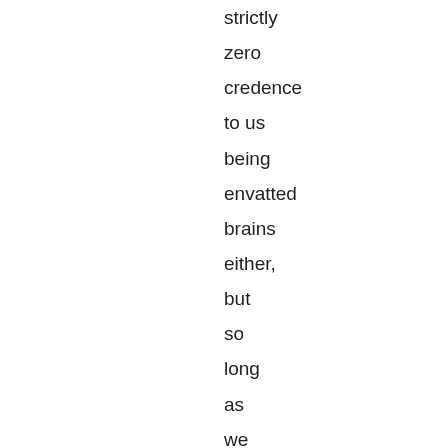strictly zero credence to us being envatted brains either, but so long as we thought that the proportion of brains in vats to brains in crania was small enough, we would